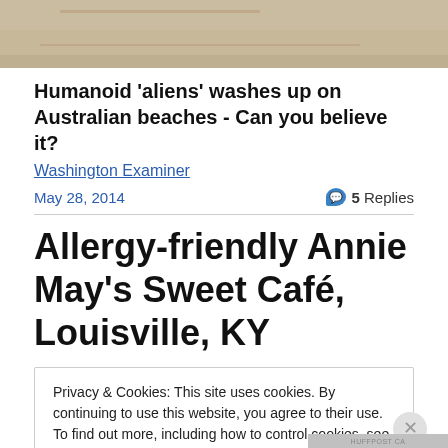[Figure (photo): Partial top image, sandy/earthy texture visible, cropped at top]
Humanoid 'aliens' washes up on Australian beaches - Can you believe it?
Washington Examiner
May 28, 2014
5 Replies
Allergy-friendly Annie May's Sweet Café, Louisville, KY
Privacy & Cookies: This site uses cookies. By continuing to use this website, you agree to their use.
To find out more, including how to control cookies, see here: Cookie Policy
Close and accept